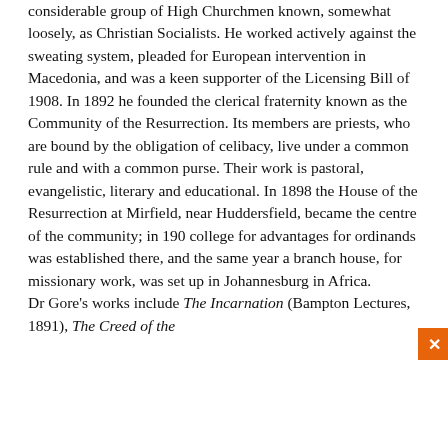considerable group of High Churchmen known, somewhat loosely, as Christian Socialists. He worked actively against the sweating system, pleaded for European intervention in Macedonia, and was a keen supporter of the Licensing Bill of 1908. In 1892 he founded the clerical fraternity known as the Community of the Resurrection. Its members are priests, who are bound by the obligation of celibacy, live under a common rule and with a common purse. Their work is pastoral, evangelistic, literary and educational. In 1898 the House of the Resurrection at Mirfield, near Huddersfield, became the centre of the community; in 190 college for ordinaries for ordinands was established there, and the same year a branch house, for missionary work, was set up in Johannesburg in Africa. Dr Gore's works include The Incarnation (Bampton Lectures, 1891), The Creed of the
[Figure (screenshot): Cookie consent overlay with text 'Our advertisers use cookies to personalize ads on our web pages.' and ACCEPT / DECLINE buttons, a close (x) button in orange, and a 'Details' link.]